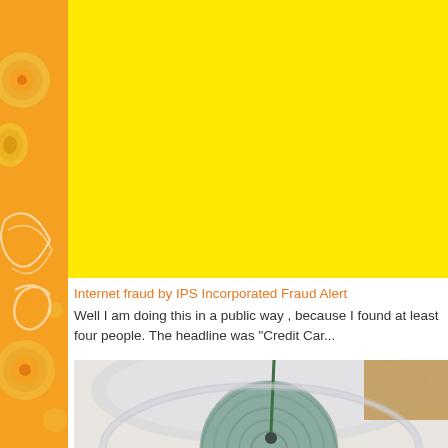[Figure (illustration): Left sidebar with orange background and decorative white swirl and citrus/circle patterns]
[Figure (other): Large yellow/bright yellow rectangular banner area at top of main content]
Internet fraud by IPS Incorporated Fraud Alert
Well I am doing this in a public way , because I found at least four people. The headline was "Credit Car...
[Figure (photo): Close-up photo of a teal/green yarn ball in a clear plastic container, with green thread coming out the top and a red thread visible at bottom right]